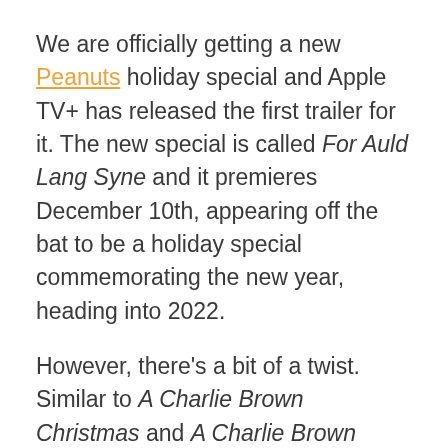We are officially getting a new Peanuts holiday special and Apple TV+ has released the first trailer for it. The new special is called For Auld Lang Syne and it premieres December 10th, appearing off the bat to be a holiday special commemorating the new year, heading into 2022.
However, there's a bit of a twist. Similar to A Charlie Brown Christmas and A Charlie Brown Thanksgiving, the special follows the Peanuts gang as they celebrate a major holiday. Except this time, it's Lucy stepping into the spotlight instead of Charlie Brown.
We're getting a New Year's-themed Peanuts holiday